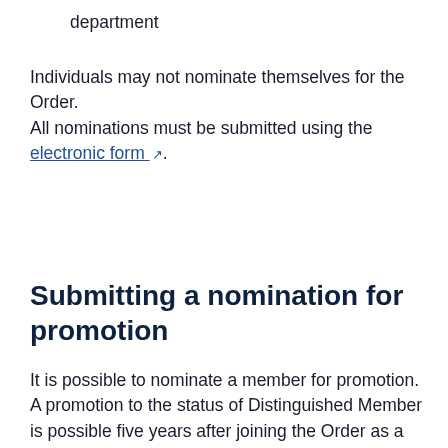department
Individuals may not nominate themselves for the Order.
All nominations must be submitted using the electronic form.
Submitting a nomination for promotion
It is possible to nominate a member for promotion. A promotion to the status of Distinguished Member is possible five years after joining the Order as a Member. A promotion to the status of Emeritus Member is possible five years after being nominated as or promoted to the status of Distinguished